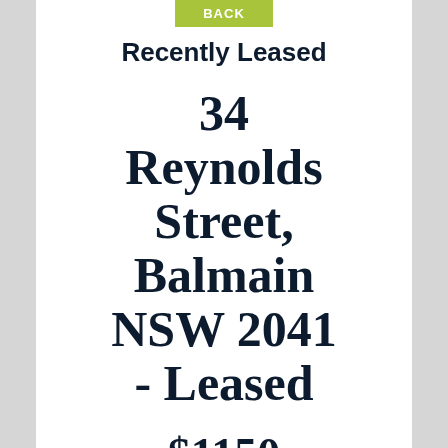BACK
Recently Leased
34 Reynolds Street, Balmain NSW 2041 - Leased
$1150